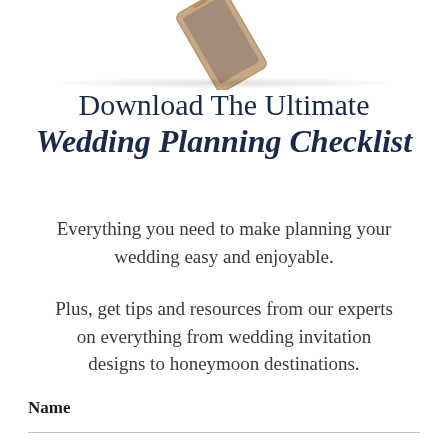[Figure (photo): A smartphone shown at an angle from above, partially cropped at top of page]
Download The Ultimate Wedding Planning Checklist
Everything you need to make planning your wedding easy and enjoyable.
Plus, get tips and resources from our experts on everything from wedding invitation designs to honeymoon destinations.
Name